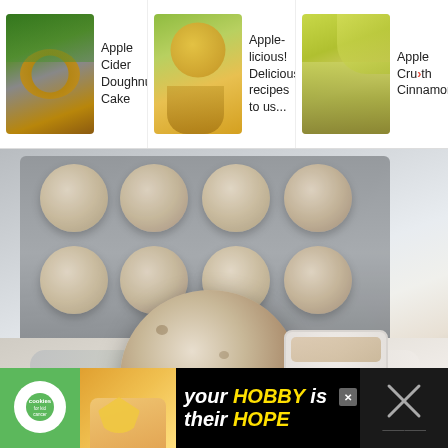[Figure (screenshot): Mobile website screenshot showing three recipe card thumbnails in a top navigation bar: 'Apple Cider Doughnut Cake', 'Apple-licious! Delicious recipes to us...', and 'Apple Cru... Cake with Cinnamon'. Below is a large food photo of mini muffins/donut holes in a baking tray, with one held on a spoon over melted butter and a bowl of cinnamon sugar. On the right side are UI buttons: a pink heart button, a count of 638, a share button, and a pink search button. At the bottom is a 'cookies for kid cancer' advertisement banner with text 'your HOBBY is their HOPE'.]